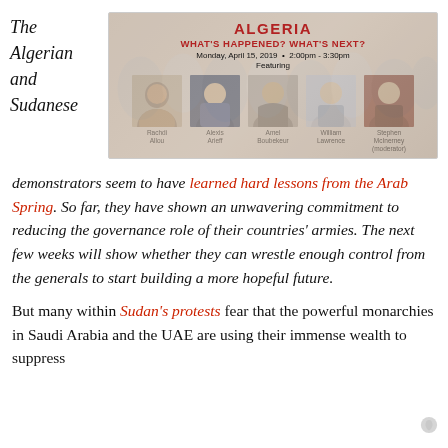The Algerian and Sudanese
[Figure (infographic): Event flyer for 'ALGERIA — WHAT'S HAPPENED? WHAT'S NEXT?' on Monday, April 15, 2019, 2:00pm - 3:30pm. Featuring speakers: Rachdi Allou, Alexis Arieff, Amel Boubekeur, William Lawrence, Stephen McInerney (moderator). Photos of five speakers shown.]
demonstrators seem to have learned hard lessons from the Arab Spring. So far, they have shown an unwavering commitment to reducing the governance role of their countries' armies. The next few weeks will show whether they can wrestle enough control from the generals to start building a more hopeful future.
But many within Sudan's protests fear that the powerful monarchies in Saudi Arabia and the UAE are using their immense wealth to suppress